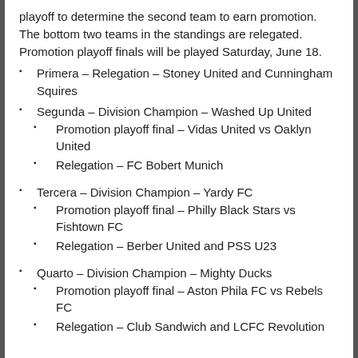playoff to determine the second team to earn promotion. The bottom two teams in the standings are relegated. Promotion playoff finals will be played Saturday, June 18.
Primera – Relegation – Stoney United and Cunningham Squires
Segunda – Division Champion – Washed Up United
Promotion playoff final – Vidas United vs Oaklyn United
Relegation – FC Bobert Munich
Tercera – Division Champion – Yardy FC
Promotion playoff final – Philly Black Stars vs Fishtown FC
Relegation – Berber United and PSS U23
Quarto – Division Champion – Mighty Ducks
Promotion playoff final – Aston Phila FC vs Rebels FC
Relegation – Club Sandwich and LCFC Revolution